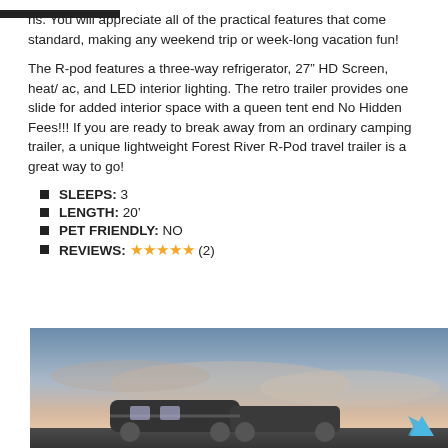ns. You will appreciate all of the practical features that come standard, making any weekend trip or week-long vacation fun!
The R-pod features a three-way refrigerator, 27” HD Screen, heat/ ac, and LED interior lighting. The retro trailer provides one slide for added interior space with a queen tent end No Hidden Fees!!! If you are ready to break away from an ordinary camping trailer, a unique lightweight Forest River R-Pod travel trailer is a great way to go!
SLEEPS: 3
LENGTH: 20’
PET FRIENDLY: NO
REVIEWS: ★★★★★ (2)
[Figure (photo): Outdoor photo of a travel trailer (Forest River R-Pod) parked outdoors at dusk/sunset with scenic sky background]